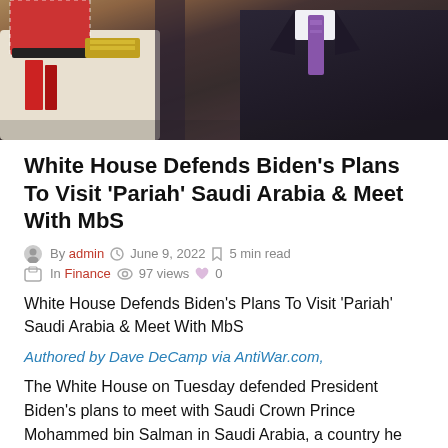[Figure (photo): Photograph of two men in formal attire, one wearing traditional Saudi dress with red-and-white keffiyeh and military regalia, the other in a dark suit with purple tie. Only upper torsos visible.]
White House Defends Biden's Plans To Visit 'Pariah' Saudi Arabia & Meet With MbS
By admin  June 9, 2022  5 min read  In Finance  97 views  0
White House Defends Biden’s Plans To Visit ‘Pariah’ Saudi Arabia & Meet With MbS
Authored by Dave DeCamp via AntiWar.com,
The White House on Tuesday defended President Biden’s plans to meet with Saudi Crown Prince Mohammed bin Salman in Saudi Arabia, a country he once vowed to make